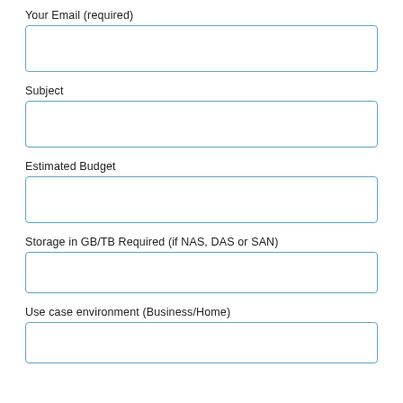Your Email (required)
Subject
Estimated Budget
Storage in GB/TB Required (if NAS, DAS or SAN)
Use case environment (Business/Home)